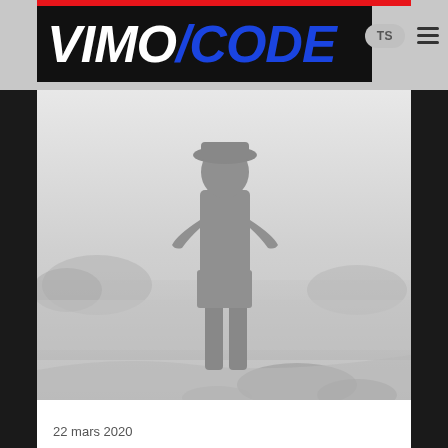VIMO/CODE
[Figure (photo): Silhouette of a person standing with hands on hips, viewed from behind against a misty outdoor landscape with water and trees in the background. Grayscale/desaturated image.]
22 mars 2020
Everyday inspired by the Beauty of the